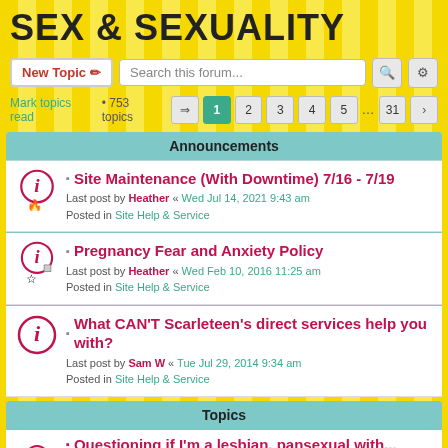SEX & SEXUALITY
New Topic | Search this forum...
Mark topics read • 753 topics  1 2 3 4 5 … 31 >
Announcements
Site Maintenance (With Downtime) 7/16 - 7/19
Last post by Heather « Wed Jul 14, 2021 9:43 am
Posted in Site Help & Service
Pregnancy Fear and Anxiety Policy
Last post by Heather « Wed Feb 10, 2016 11:25 am
Posted in Site Help & Service
What CAN'T Scarleteen's direct services help you with?
Last post by Sam W « Tue Jul 29, 2014 9:34 am
Posted in Site Help & Service
Topics
Questioning if I'm a lesbian, pansexual with...